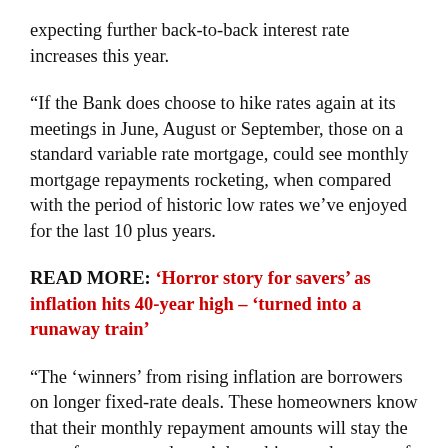expecting further back-to-back interest rate increases this year.
“If the Bank does choose to hike rates again at its meetings in June, August or September, those on a standard variable rate mortgage, could see monthly mortgage repayments rocketing, when compared with the period of historic low rates we’ve enjoyed for the last 10 plus years.
READ MORE: ‘Horror story for savers’ as inflation hits 40-year high – ‘turned into a runaway train’
“The ‘winners’ from rising inflation are borrowers on longer fixed-rate deals. These homeowners know that their monthly repayment amounts will stay the same for years, and won’t be subject to the types of